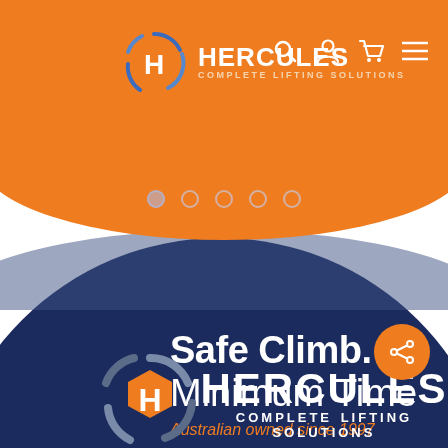[Figure (screenshot): Hercules Complete Lifting Solutions website screenshot showing orange header with logo and navigation icons, a carousel with dots, a large navy blue circle hero section with text 'Safe Climb. Minimum Time' and 'Australian owned since 1997', Hercules logo and brand name at bottom, and an orange share button.]